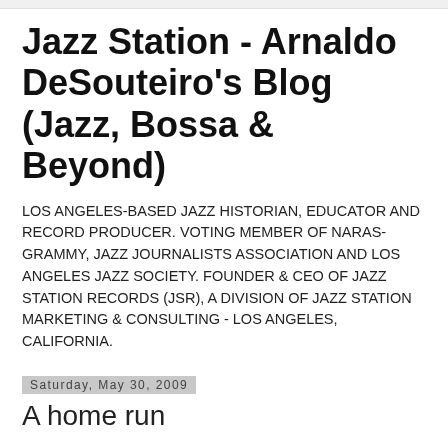Jazz Station - Arnaldo DeSouteiro's Blog (Jazz, Bossa & Beyond)
LOS ANGELES-BASED JAZZ HISTORIAN, EDUCATOR AND RECORD PRODUCER. VOTING MEMBER OF NARAS-GRAMMY, JAZZ JOURNALISTS ASSOCIATION AND LOS ANGELES JAZZ SOCIETY. FOUNDER & CEO OF JAZZ STATION RECORDS (JSR), A DIVISION OF JAZZ STATION MARKETING & CONSULTING - LOS ANGELES, CALIFORNIA.
Saturday, May 30, 2009
A home run
Dear Arnaldo: